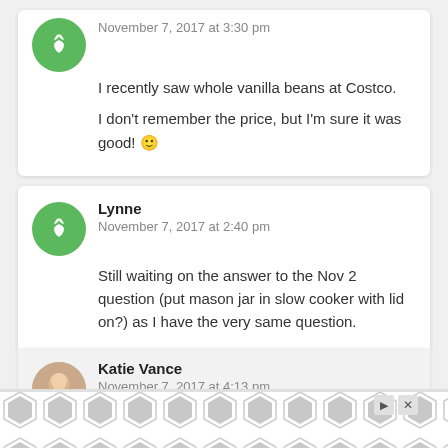November 7, 2017 at 3:30 pm
I recently saw whole vanilla beans at Costco.
I don't remember the price, but I'm sure it was good! 🙂
Lynne
November 7, 2017 at 2:40 pm
Still waiting on the answer to the Nov 2 question (put mason jar in slow cooker with lid on?) as I have the very same question.
Katie Vance
November 7, 2017 at 4:13 pm
Hi Lynne – Slow cooker with the lid on. Hope that helps!
[Figure (other): Advertisement banner with geometric hexagonal pattern in grey and white]